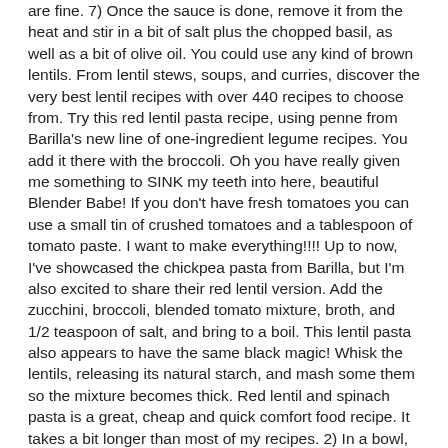are fine. 7) Once the sauce is done, remove it from the heat and stir in a bit of salt plus the chopped basil, as well as a bit of olive oil. You could use any kind of brown lentils. From lentil stews, soups, and curries, discover the very best lentil recipes with over 440 recipes to choose from. Try this red lentil pasta recipe, using penne from Barilla's new line of one-ingredient legume recipes. You add it there with the broccoli. Oh you have really given me something to SINK my teeth into here, beautiful Blender Babe! If you don't have fresh tomatoes you can use a small tin of crushed tomatoes and a tablespoon of tomato paste. I want to make everything!!!! Up to now, I've showcased the chickpea pasta from Barilla, but I'm also excited to share their red lentil version. Add the zucchini, broccoli, blended tomato mixture, broth, and 1/2 teaspoon of salt, and bring to a boil. This lentil pasta also appears to have the same black magic! Whisk the lentils, releasing its natural starch, and mash some them so the mixture becomes thick. Red lentil and spinach pasta is a great, cheap and quick comfort food recipe. It takes a bit longer than most of my recipes. 2) In a bowl, crush the tomatoes with your hands (it's ok to leave a few chunks). 5) Cook the pasta according to package directions, being careful not to overcook it (it might turn mushy if so). By Kerstin Cox, HCTP November 2017 This quick and simple dish is perfect to whip up for lunch or dinner. Required fields are marked *. Add garlic, tomatoes, bay leaves and stir for a minute (If you use canned tomatoes or only tomato paste rather than fresh ... I served my pasta with the veggies on top, but Ed likes to keep everything separate (he's a freak). Vegan Red Lentil Flatbread made with only 2 ingredients and ready in 15 minutes! Reduce the heat to medium, add in the cooked lentils, and simmer for 10 to 15 minutes, just until the